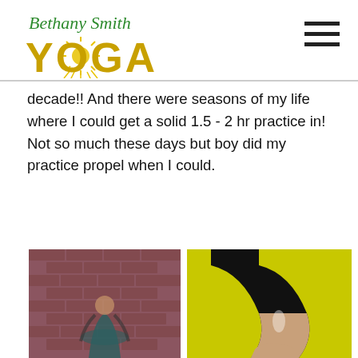[Figure (logo): Bethany Smith Yoga logo with green cursive text 'Bethany Smith' above golden 'YOGA' letters with sun rays illustration]
[Figure (other): Hamburger menu icon with three horizontal black lines in top right corner]
decade!! And there were seasons of my life where I could get a solid 1.5 - 2 hr practice in! Not so much these days but boy did my practice propel when I could.
[Figure (photo): Left photo: yoga practitioner in teal/green pants posing against a brick wall background]
[Figure (photo): Right photo: close-up of a person's arm/shoulder doing a yoga pose against a bright yellow background, wearing black]